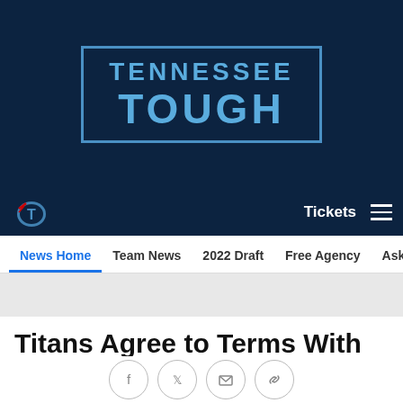[Figure (logo): Tennessee Tough banner logo with text in a rectangular box on dark navy background]
[Figure (logo): Tennessee Titans logo (helmet with T) in nav bar, with Tickets text and hamburger menu]
News Home  Team News  2022 Draft  Free Agency  Ask Jim/Ma
Titans Agree to Terms With QB Logan Woodside on One-Year Deal
Mar 09, 2022 at 11:52 AM